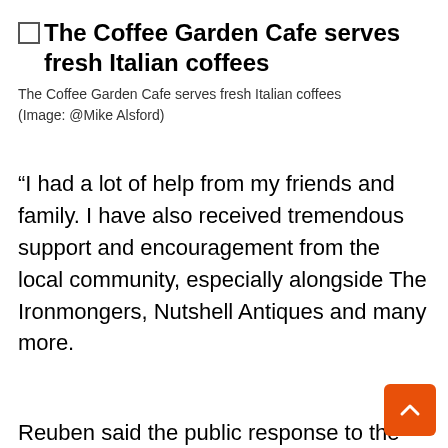The Coffee Garden Cafe serves fresh Italian coffees
The Coffee Garden Cafe serves fresh Italian coffees (Image: @Mike Alsford)
“I had a lot of help from my friends and family. I have also received tremendous support and encouragement from the local community, especially alongside The Ironmongers, Nutshell Antiques and many more.
Reuben said the public response to the gallery has been very positive. He said his father would have loved it too.
“We’re going to have a lot of events here,” Reuben said. “We have a book group this